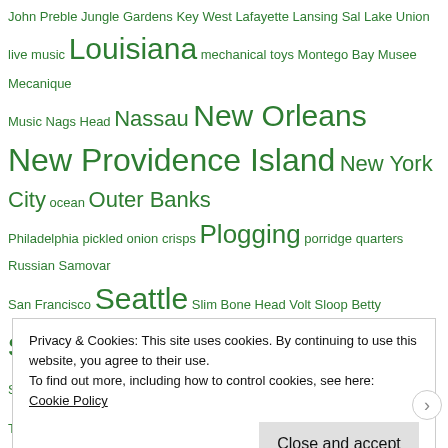John Preble Jungle Gardens Key West Lafayette Lansing Sal Lake Union live music Louisiana mechanical toys Montego Bay Musee Mecanique Music Nags Head Nassau New Orleans New Providence Island New York City ocean Outer Banks Philadelphia pickled onion crisps Plogging porridge quarters Russian Samovar San Francisco Seattle Slim Bone Head Volt Sloop Betty snorkeling Snorkeling the Florida Keys spoken word punk St. Petersburg The Donkey Sanctuary vegan Veggie Grill video games Vincent D'Onofrio Washington wildlife William P. Tandy World Cafe Live zines
WRITE US
Privacy & Cookies: This site uses cookies. By continuing to use this website, you agree to their use.
To find out more, including how to control cookies, see here:
Cookie Policy
Close and accept